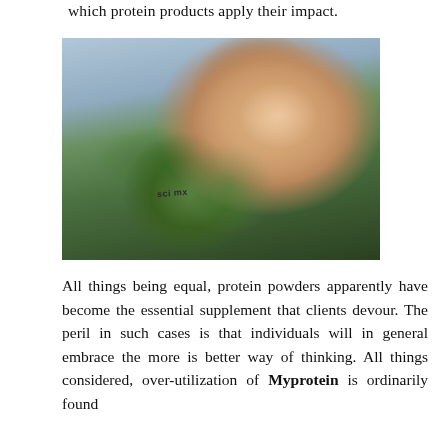which protein products apply their impact.
[Figure (photo): A smiling woman outdoors holding a SCI-MX protein shaker bottle, wearing a grey athletic tank top with trees in the background.]
All things being equal, protein powders apparently have become the essential supplement that clients devour. The peril in such cases is that individuals will in general embrace the more is better way of thinking. All things considered, over-utilization of Myprotein is ordinarily found